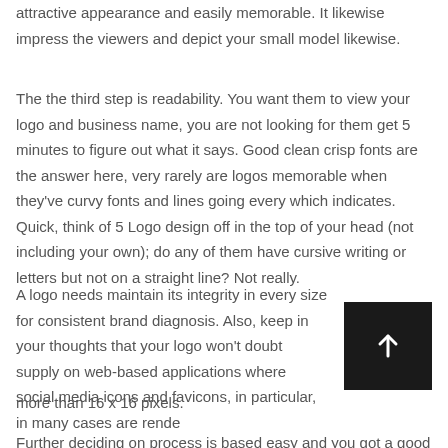attractive appearance and easily memorable. It likewise impress the viewers and depict your small model likewise.
The the third step is readability. You want them to view your logo and business name, you are not looking for them get 5 minutes to figure out what it says. Good clean crisp fonts are the answer here, very rarely are logos memorable when they've curvy fonts and lines going every which indicates. Quick, think of 5 Logo design off in the top of your head (not including your own); do any of them have cursive writing or letters but not on a straight line? Not really.
A logo needs maintain its integrity in every size for consistent brand diagnosis. Also, keep in your thoughts that your logo won't doubt supply on web-based applications where social media icons and favicons, in particular, in many cases are rendered more than 16 x 16 pixels.
Further deciding on process is based easy and you got a good...